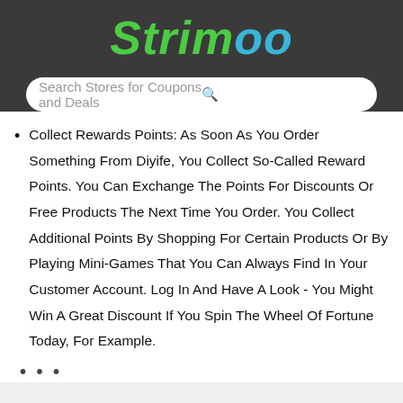Strimoo
Search Stores for Coupons and Deals
Collect Rewards Points: As Soon As You Order Something From Diyife, You Collect So-Called Reward Points. You Can Exchange The Points For Discounts Or Free Products The Next Time You Order. You Collect Additional Points By Shopping For Certain Products Or By Playing Mini-Games That You Can Always Find In Your Customer Account. Log In And Have A Look - You Might Win A Great Discount If You Spin The Wheel Of Fortune Today, For Example.